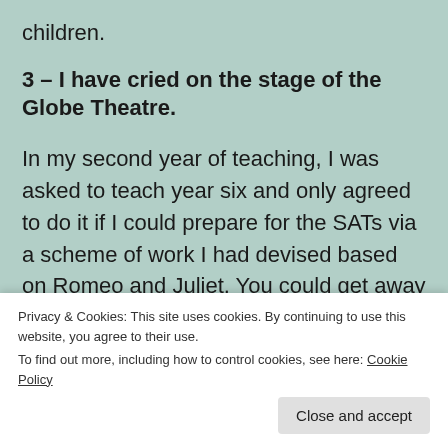children.
3 – I have cried on the stage of the Globe Theatre.
In my second year of teaching, I was asked to teach year six and only agreed to do it if I could prepare for the SATs via a scheme of work I had devised based on Romeo and Juliet. You could get away with that then. [partially visible lines follow]
eyes in the background of every photograph
Privacy & Cookies: This site uses cookies. By continuing to use this website, you agree to their use.
To find out more, including how to control cookies, see here: Cookie Policy
Close and accept